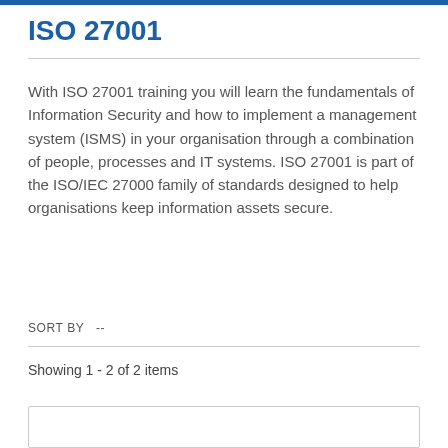ISO 27001
With ISO 27001 training you will learn the fundamentals of Information Security and how to implement a management system (ISMS) in your organisation through a combination of people, processes and IT systems. ISO 27001 is part of the ISO/IEC 27000 family of standards designed to help organisations keep information assets secure.
SORT BY  --
Showing 1 - 2 of 2 items